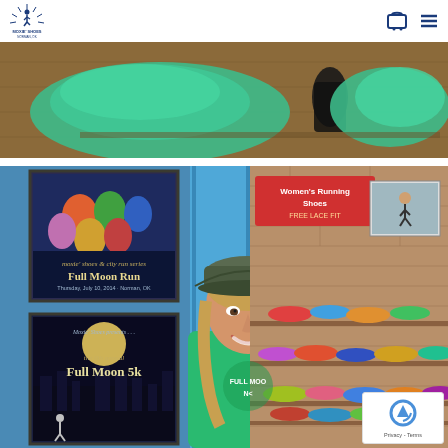Moxie' Shoes - header with logo, cart icon, and menu icon
[Figure (photo): Photo of green/teal folded t-shirts spread on a wooden table surface, with a shoe visible in the background]
[Figure (photo): Store interior photo showing a smiling young woman in a green t-shirt and cap, standing in front of framed Full Moon Run and Full Moon 5k race posters on a blue wall, with running shoes displayed on shelves to the right]